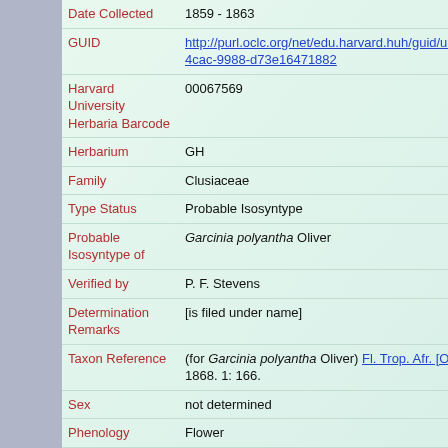| Field | Value |
| --- | --- |
| Date Collected | 1859 - 1863 |
| GUID | http://purl.oclc.org/net/edu.harvard.huh/guid/uuid/21c8676-4cac-9988-d73e16471882 |
| Harvard University Herbaria Barcode | 00067569 |
| Herbarium | GH |
| Family | Clusiaceae |
| Type Status | Probable Isosyntype |
| Probable Isosyntype of | Garcinia polyantha Oliver |
| Verified by | P. F. Stevens |
| Determination Remarks | [is filed under name] |
| Taxon Reference | (for Garcinia polyantha Oliver) Fl. Trop. Afr. [Oliver et 1868. 1: 166. |
| Sex | not determined |
| Phenology | Flower |
| Preparation Type | Sheet |
| Preparation | Pressed |